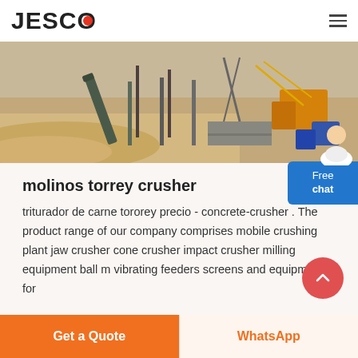JESCO
[Figure (photo): Outdoor industrial scene with crushing/mining equipment, conveyor belts, sand, and machinery at a construction or quarry site.]
molinos torrey crusher
triturador de carne tororey precio - concrete-crusher . The product range of our company comprises mobile crushing plant jaw crusher cone crusher impact crusher milling equipment ball m vibrating feeders screens and equipment for